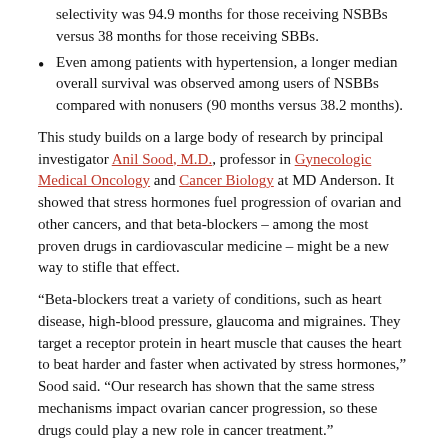selectivity was 94.9 months for those receiving NSBBs versus 38 months for those receiving SBBs.
Even among patients with hypertension, a longer median overall survival was observed among users of NSBBs compared with nonusers (90 months versus 38.2 months).
This study builds on a large body of research by principal investigator Anil Sood, M.D., professor in Gynecologic Medical Oncology and Cancer Biology at MD Anderson. It showed that stress hormones fuel progression of ovarian and other cancers, and that beta-blockers – among the most proven drugs in cardiovascular medicine – might be a new way to stifle that effect.
“Beta-blockers treat a variety of conditions, such as heart disease, high-blood pressure, glaucoma and migraines. They target a receptor protein in heart muscle that causes the heart to beat harder and faster when activated by stress hormones,” Sood said. “Our research has shown that the same stress mechanisms impact ovarian cancer progression, so these drugs could play a new role in cancer treatment.”
According to Sood, the usefulness of beta-blockers was unclear until now. “The ability to show improved survival using nonselective agents – which inhibit a specific stress pathway – is the culmination of years of research into ovarian cancer biology and pathogenesis,”